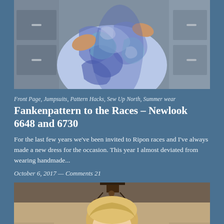[Figure (photo): Close-up photo of a person wearing a blue and white tie-dye patterned jumpsuit or dress, standing in what appears to be a kitchen. The fabric has swirling blue, teal, and white patterns.]
Front Page, Jumpsuits, Pattern Hacks, Sew Up North, Summer wear
Fankenpattern to the Races – Newlook 6648 and 6730
For the last few years we've been invited to Ripon races and I've always made a new dress for the occasion. This year I almost deviated from wearing handmade...
October 6, 2017 — Comments 21
[Figure (photo): Photo of a woman with blonde hair wearing a light-colored outfit, photographed indoors with a chandelier visible in the background and warm brown/tan colored walls.]